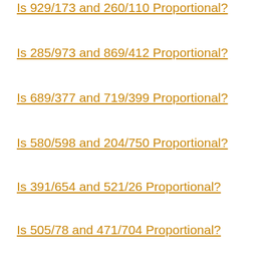Is 929/173 and 260/110 Proportional?
Is 285/973 and 869/412 Proportional?
Is 689/377 and 719/399 Proportional?
Is 580/598 and 204/750 Proportional?
Is 391/654 and 521/26 Proportional?
Is 505/78 and 471/704 Proportional?
Is 972/867 and 812/924 Proportional?
Is 127/834 and 131/307 Proportional?
Is 536/342 and 801/729 Proportional?